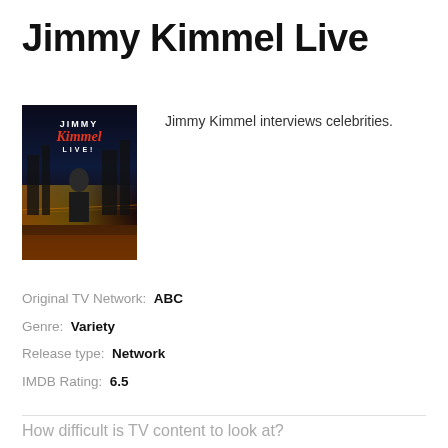Jimmy Kimmel Live
[Figure (photo): Jimmy Kimmel Live promotional poster showing a man in a suit seated with city lights background and the show logo]
Jimmy Kimmel interviews celebrities.
Original TV Network: ABC
Genre: Variety
Release type: Network
IMDB Rating: 6.5
How difficult is TV content to look at?